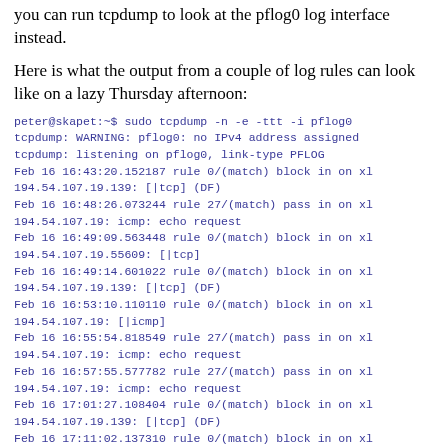you can run tcpdump to look at the pflog0 log interface instead.
Here is what the output from a couple of log rules can look like on a lazy Thursday afternoon:
[Figure (screenshot): Terminal output showing tcpdump command and pflog0 network log entries with timestamps, rule numbers, and IP addresses in monospace blue/purple text.]